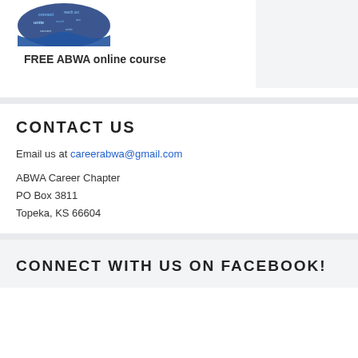[Figure (logo): ABWA word cloud logo with words like reach out, unite, connect on a blue circular design]
FREE ABWA online course
CONTACT US
Email us at careerabwa@gmail.com
ABWA Career Chapter
PO Box 3811
Topeka, KS 66604
CONNECT WITH US ON FACEBOOK!